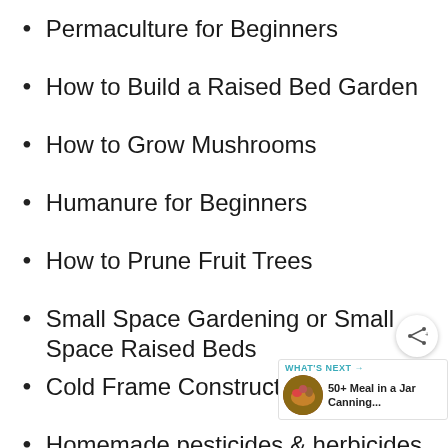Permaculture for Beginners
How to Build a Raised Bed Garden
How to Grow Mushrooms
Humanure for Beginners
How to Prune Fruit Trees
Small Space Gardening or Small Space Raised Beds
Cold Frame Construction an...
Homemade pesticides & herbicides